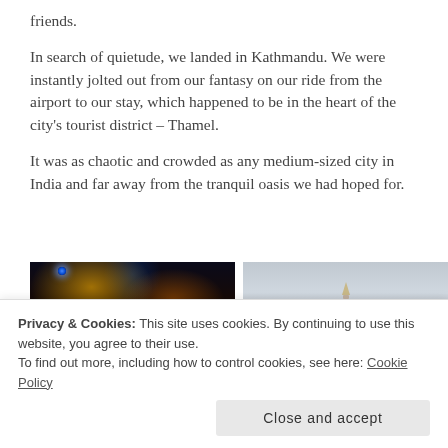friends.
In search of quietude, we landed in Kathmandu. We were instantly jolted out from our fantasy on our ride from the airport to our stay, which happened to be in the heart of the city's tourist district – Thamel.
It was as chaotic and crowded as any medium-sized city in India and far away from the tranquil oasis we had hoped for.
[Figure (photo): Night street scene with colorful lights and signs in Thamel, Kathmandu]
[Figure (photo): Boudhanath stupa in Kathmandu against a grey sky]
[Figure (photo): Colorful night market scene in Thamel]
[Figure (photo): Street scene in Kathmandu]
Privacy & Cookies: This site uses cookies. By continuing to use this website, you agree to their use.
To find out more, including how to control cookies, see here: Cookie Policy
Close and accept